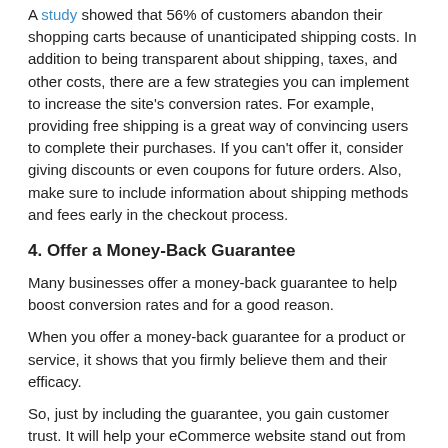A study showed that 56% of customers abandon their shopping carts because of unanticipated shipping costs. In addition to being transparent about shipping, taxes, and other costs, there are a few strategies you can implement to increase the site's conversion rates. For example, providing free shipping is a great way of convincing users to complete their purchases. If you can't offer it, consider giving discounts or even coupons for future orders. Also, make sure to include information about shipping methods and fees early in the checkout process.
4. Offer a Money-Back Guarantee
Many businesses offer a money-back guarantee to help boost conversion rates and for a good reason.
When you offer a money-back guarantee for a product or service, it shows that you firmly believe them and their efficacy.
So, just by including the guarantee, you gain customer trust. It will help your eCommerce website stand out from its competitors and achieve higher conversion rates.
5. Checkout Without Registration
As we discussed before, one of the main reasons people leave an online store is a complicated and lengthy checkout process. To simplify it, allow people to use their social media accounts, purchase without registering, or provide only the information necessary for